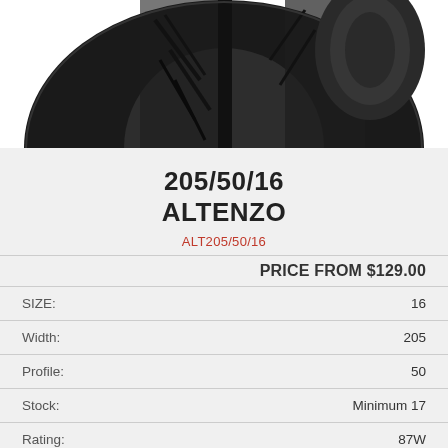[Figure (photo): Close-up photo of a black Altenzo car tire showing tread pattern]
205/50/16 ALTENZO
ALT205/50/16
PRICE FROM $129.00
|  |  |
| --- | --- |
| SIZE: | 16 |
| Width: | 205 |
| Profile: | 50 |
| Stock: | Minimum 17 |
| Rating: | 87W |
In-store fitting and balancing included